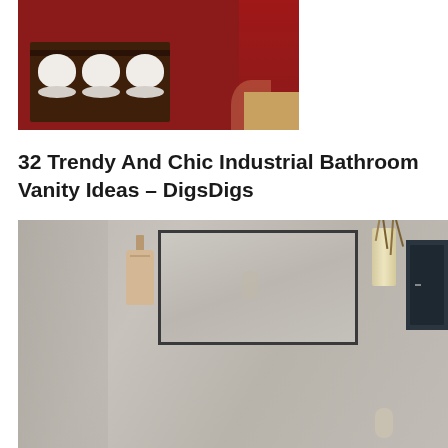[Figure (photo): Photo of a dark wooden shelf with three white rolled towels arranged in a row against a red background, with warm floor tones visible at the right.]
32 Trendy And Chic Industrial Bathroom Vanity Ideas – DigsDigs
[Figure (photo): Photo of an industrial-style bathroom vanity area showing a rectangular mirror with dark metal frame mounted on a concrete-textured wall, a hanging bag on the left, a glass reed diffuser vase on the right, and a dark cabinet on the far right.]